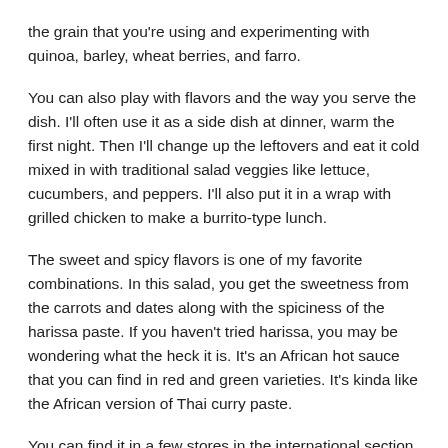the grain that you're using and experimenting with quinoa, barley, wheat berries, and farro.
You can also play with flavors and the way you serve the dish. I'll often use it as a side dish at dinner, warm the first night. Then I'll change up the leftovers and eat it cold mixed in with traditional salad veggies like lettuce, cucumbers, and peppers. I'll also put it in a wrap with grilled chicken to make a burrito-type lunch.
The sweet and spicy flavors is one of my favorite combinations. In this salad, you get the sweetness from the carrots and dates along with the spiciness of the harissa paste. If you haven't tried harissa, you may be wondering what the heck it is. It's an African hot sauce that you can find in red and green varieties. It's kinda like the African version of Thai curry paste.
You can find it in a few stores in the international section. The amount of spice and kick it has varies so makes sure you taste test it first before dumping in the entire tablespoon in this recipe. You want spiciness to your taste. If you can't find harissa, you can also sub in sriracha, Thai curry paste, or any red chili sauce you have available.
Spiced Crispy Chickpea Caesar Salad